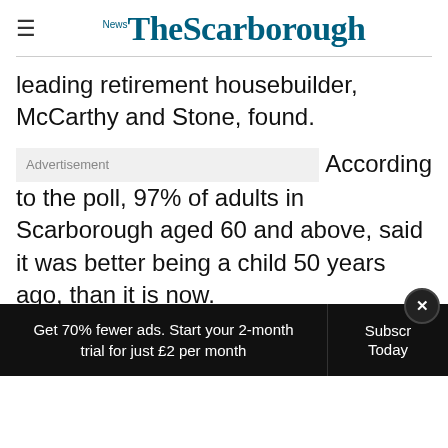The Scarborough News
leading retirement housebuilder, McCarthy and Stone, found.
Advertisement
According to the poll, 97% of adults in Scarborough aged 60 and above, said it was better being a child 50 years ago, than it is now.
A total of 99% said children were much better at making their own entertainment years ago. And 98 percent said they learned far more practic
Get 70% fewer ads. Start your 2-month trial for just £2 per month   Subscribe Today